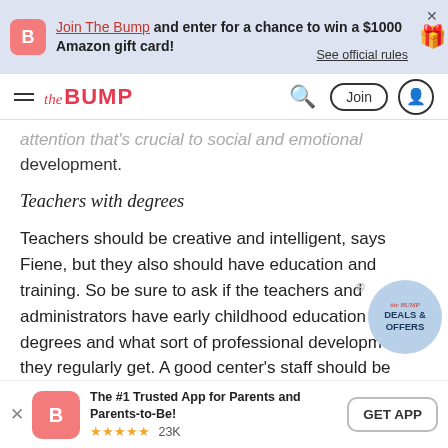Join The Bump and enter for a chance to win a $1000 Amazon gift card! See official rules
the BUMP — Join — user icon — search
attention that's crucial to social and emotional development.
Teachers with degrees
Teachers should be creative and intelligent, says Fiene, but they also should have education and training. So be sure to ask if the teachers and administrators have early childhood education degrees and what sort of professional development they regularly get. A good center's staff should be required to attend training each
The #1 Trusted App for Parents and Parents-to-Be! ★★★★★ 23K  GET APP